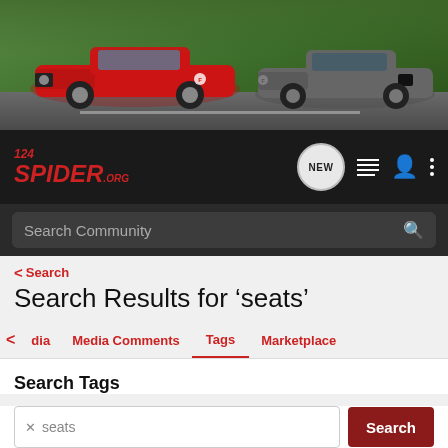[Figure (photo): Hero banner showing two Fiat 124 Spider cars on a road — a red convertible on the left and a gray coupe on the right, with a green tree-lined background.]
[Figure (logo): 124Spider.org logo in red italic bold text on dark background, with navigation icons: NEW speech bubble, list icon, person icon, and vertical dots menu.]
Search Community
< Search
Search Results for ‘seats’
dia  Media Comments  Tags  Marketplace
Search Tags
seats
Search